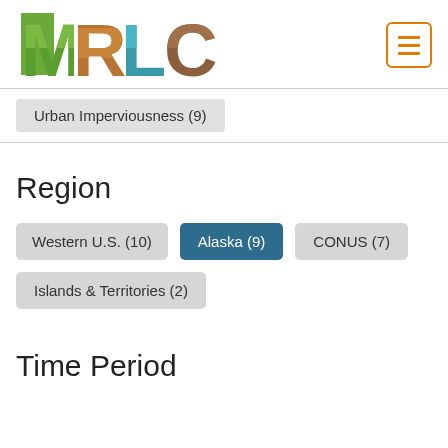[Figure (logo): MRLC logo with nature-themed letters]
Urban Imperviousness (9)
Region
Western U.S. (10)
Alaska (9)
CONUS (7)
Islands & Territories (2)
Time Period